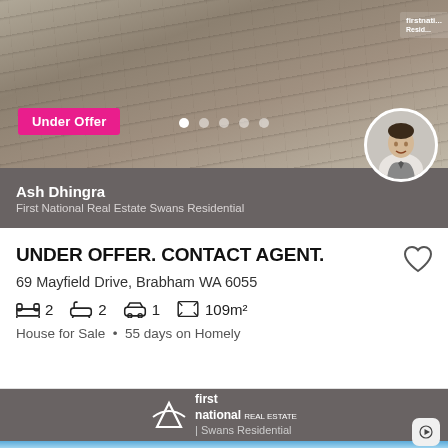[Figure (photo): Top photo of concrete driveway/surface, outdoor scene]
Under Offer
[Figure (photo): Agent profile photo of Ash Dhingra in suit, black and white]
Ash Dhingra
First National Real Estate Swans Residential
UNDER OFFER. CONTACT AGENT.
69 Mayfield Drive, Brabham WA 6055
2 bedrooms, 2 bathrooms, 1 garage, 109m²
House for Sale • 55 days on Homely
[Figure (logo): First National Real Estate Swans Residential logo in white on dark grey background]
[Figure (photo): Bottom partial photo showing blue sky]